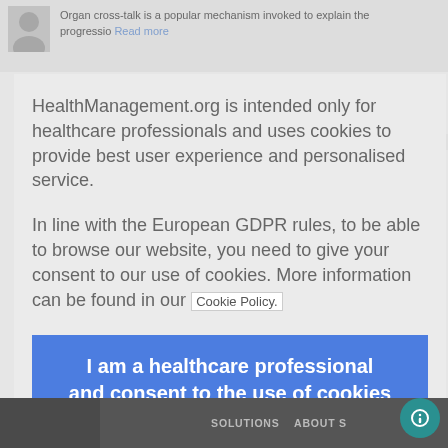Organ cross-talk is a popular mechanism invoked to explain the progressio Read more
HealthManagement.org is intended only for healthcare professionals and uses cookies to provide best user experience and personalised service.
In line with the European GDPR rules, to be able to browse our website, you need to give your consent to our use of cookies. More information can be found in our Cookie Policy.
I am a healthcare professional and consent to the use of cookies
SOLUTIONS ABOUT S